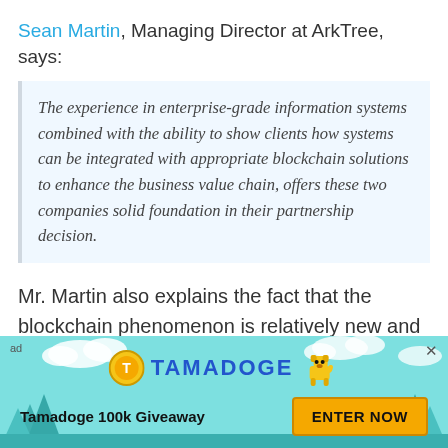Sean Martin, Managing Director at ArkTree, says:
The experience in enterprise-grade information systems combined with the ability to show clients how systems can be integrated with appropriate blockchain solutions to enhance the business value chain, offers these two companies solid foundation in their partnership decision.
Mr. Martin also explains the fact that the blockchain phenomenon is relatively new and unfamiliar, which leads it to scrutiny and resistance from the public. He attributes this to inadequate public knowledge
[Figure (other): Advertisement banner for Tamadoge 100k Giveaway with teal background, trees, clouds, Tamadoge logo with coin and dog character, and an orange ENTER NOW button.]